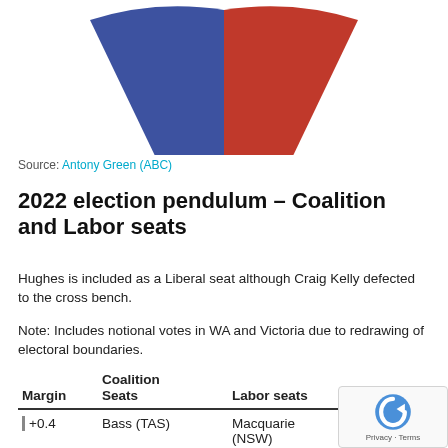[Figure (pie-chart): Partial donut/pie chart showing blue (Coalition) segment on left and red (Labor) segment on right, cropped at top of page.]
Source: Antony Green (ABC)
2022 election pendulum – Coalition and Labor seats
Hughes is included as a Liberal seat although Craig Kelly defected to the cross bench.
Note: Includes notional votes in WA and Victoria due to redrawing of electoral boundaries.
| Margin | Coalition Seats | Labor seats | Margin |
| --- | --- | --- | --- |
| +0.4 | Bass (TAS) | Macquarie (NSW) | +0 |
| +0.5 | Chisholm (VIC) | Lilley (QLD) | +1 |